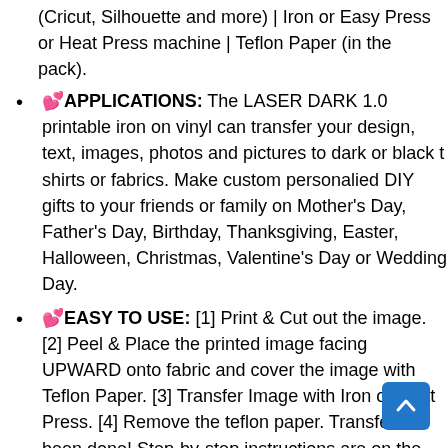(Cricut, Silhouette and more) | Iron or Easy Press or Heat Press machine | Teflon Paper (in the pack).
💕APPLICATIONS: The LASER DARK 1.0 printable iron on vinyl can transfer your design, text, images, photos and pictures to dark or black t shirts or fabrics. Make custom personalied DIY gifts to your friends or family on Mother's Day, Father's Day, Birthday, Thanksgiving, Easter, Halloween, Christmas, Valentine's Day or Wedding Day.
💕EASY TO USE: [1] Print & Cut out the image. [2] Peel & Place the printed image facing UPWARD onto fabric and cover the image with Teflon Paper. [3] Transfer Image with Iron or Heat Press. [4] Remove the teflon paper. Transfer has been done! Step-by-step instructions are on the back of cover paper in the pack.
💕WHO ARE WE: We are a leading manufacturer with 30 years R&D experience and OEM...